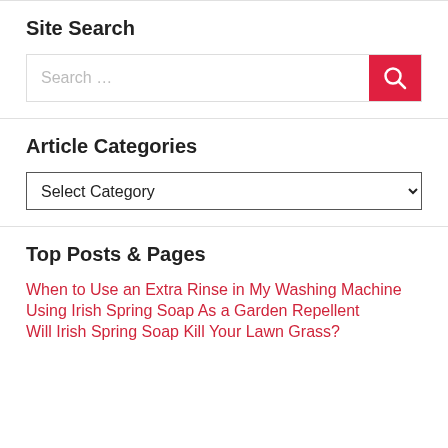Site Search
[Figure (other): Search input box with red search button containing magnifying glass icon]
Article Categories
[Figure (other): Dropdown select menu labeled Select Category]
Top Posts & Pages
When to Use an Extra Rinse in My Washing Machine
Using Irish Spring Soap As a Garden Repellent
Will Irish Spring Soap Kill Your Lawn Grass?